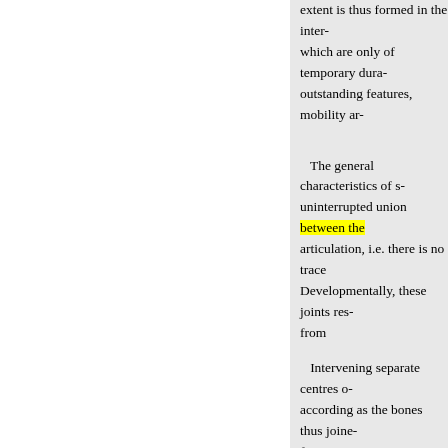extent is thus formed in the inter- which are only of temporary dura- outstanding features, mobility ar-
The general characteristics of s- uninterrupted union between the articulation, i.e. there is no trace Developmentally, these joints res- from
Intervening separate centres o- according as the bones thus joine- former case union is effected by periosteum. To such articulations
THROUGH A SUTURE. the u synchondroses (Fig. 288). In all t disappear in the progress of
« Précédent